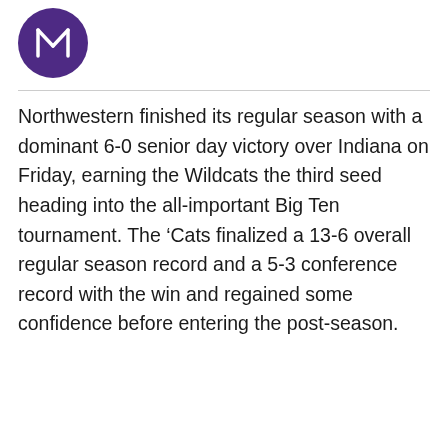[Figure (logo): Northwestern Wildcats circular logo in purple with white graphic design]
Northwestern finished its regular season with a dominant 6-0 senior day victory over Indiana on Friday, earning the Wildcats the third seed heading into the all-important Big Ten tournament. The ‘Cats finalized a 13-6 overall regular season record and a 5-3 conference record with the win and regained some confidence before entering the post-season.